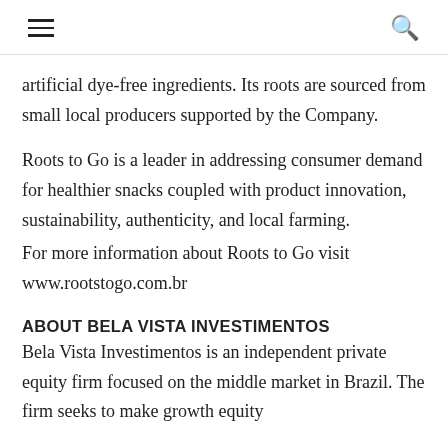≡  🔍
artificial dye-free ingredients. Its roots are sourced from small local producers supported by the Company.
Roots to Go is a leader in addressing consumer demand for healthier snacks coupled with product innovation, sustainability, authenticity, and local farming.
For more information about Roots to Go visit www.rootstogo.com.br
ABOUT BELA VISTA INVESTIMENTOS
Bela Vista Investimentos is an independent private equity firm focused on the middle market in Brazil. The firm seeks to make growth equity